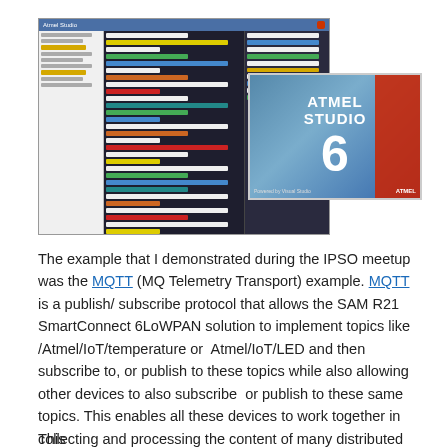[Figure (screenshot): Screenshot of Atmel Studio 6 IDE showing code editor with colored syntax highlighting and project explorer, alongside the Atmel Studio 6 product splash/logo image with a 3D rendered room and red block element.]
The example that I demonstrated during the IPSO meetup was the MQTT (MQ Telemetry Transport) example. MQTT is a publish/ subscribe protocol that allows the SAM R21 SmartConnect 6LoWPAN solution to implement topics like /Atmel/IoT/temperature or  Atmel/IoT/LED and then subscribe to, or publish to these topics while also allowing other devices to also subscribe  or publish to these same topics. This enables all these devices to work together in collecting and processing the content of many distributed sensors.
This